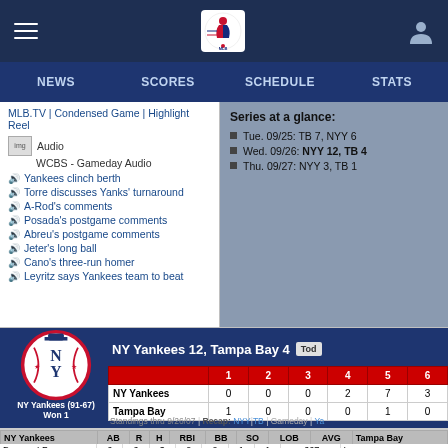MLB Navigation: NEWS | SCORES | SCHEDULE | STATS
MLB.TV | Condensed Game | Highlight Reel
Audio
WCBS - Gameday Audio
Yankees clinch berth
Torre discusses Yanks' turnaround
A-Rod's comments
Posada's postgame comments
Abreu's postgame comments
Jeter's long ball
Cano's three-run homer
Leyritz says Yankees team to beat
Series at a glance:
Tue. 09/25: TB 7, NYY 6
Wed. 09/26: NYY 12, TB 4
Thu. 09/27: NYY 3, TB 1
NY Yankees 12, Tampa Bay 4
|  | 1 | 2 | 3 | 4 | 5 | 6 |
| --- | --- | --- | --- | --- | --- | --- |
| NY Yankees | 0 | 0 | 0 | 2 | 7 | 3 |
| Tampa Bay | 1 | 0 | 0 | 0 | 1 | 0 |
Standings thru 9/26/07 | Recap: NYY | TB | Gameday | Ya...
NY Yankees (91-67)
Won 1
| NY Yankees | AB | R | H | RBI | BB | SO | LOB | AVG | Tampa Bay |
| --- | --- | --- | --- | --- | --- | --- | --- | --- | --- |
| Damon, LF | 6 | 2 | 3 | 0 | 0 | 1 | 1 | .267 | Iwamura |